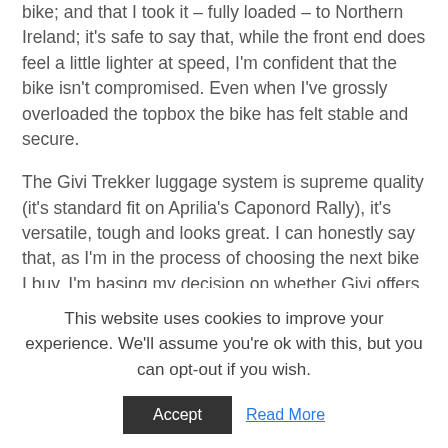bike; and that I took it – fully loaded – to Northern Ireland; it's safe to say that, while the front end does feel a little lighter at speed, I'm confident that the bike isn't compromised. Even when I've grossly overloaded the topbox the bike has felt stable and secure.
The Givi Trekker luggage system is supreme quality (it's standard fit on Aprilia's Caponord Rally), it's versatile, tough and looks great. I can honestly say that, as I'm in the process of choosing the next bike I buy, I'm basing my decision on whether Givi offers a rack to fit this kit. This is luggage to last a lifetime.
This website uses cookies to improve your experience. We'll assume you're ok with this, but you can opt-out if you wish.